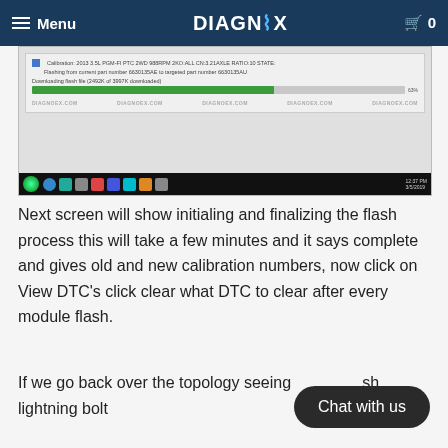Menu | DIAGNOX | 0
[Figure (screenshot): Screenshot of a vehicle calibration/flashing software interface showing a progress bar downloading a flash file (2492K of 3997K downloaded), with calibration info for a 2013 3.5L PGM-FI PTC 2WD 988RPM and DIAGNOX.COM watermarks, plus a Windows taskbar at the bottom.]
Next screen will show initialing and finalizing the flash process this will take a few minutes and it says complete and gives old and new calibration numbers, now click on View DTC's click clear what DTC to clear after every module flash.
If we go back over the topology seeing a flash lightning bolt